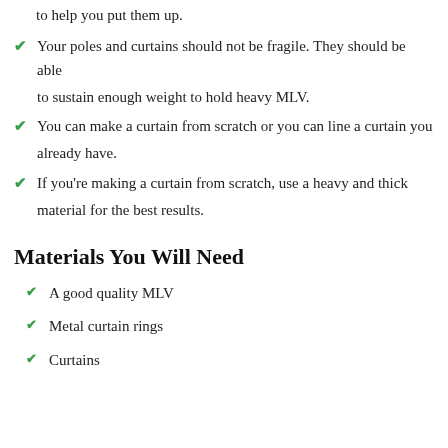to help you put them up.
Your poles and curtains should not be fragile. They should be able to sustain enough weight to hold heavy MLV.
You can make a curtain from scratch or you can line a curtain you already have.
If you're making a curtain from scratch, use a heavy and thick material for the best results.
Materials You Will Need
A good quality MLV
Metal curtain rings
Curtains